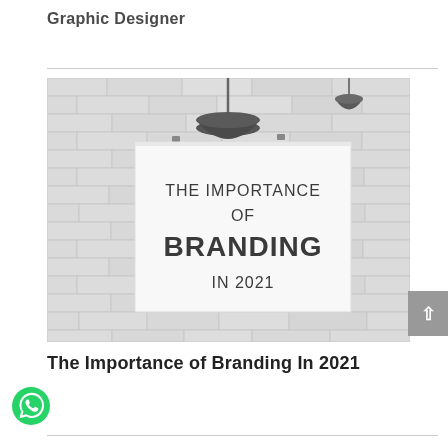Graphic Designer
[Figure (photo): A promotional image hung on a whitewashed brick wall with an industrial pendant lamp above it. The white poster/sign reads 'THE IMPORTANCE OF BRANDING IN 2021' in large dark sans-serif text.]
The Importance of Branding In 2021